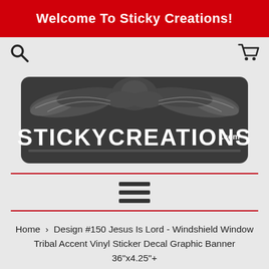Welcome To Sticky Creations!
[Figure (logo): StickyCreations.com logo — dark gray emblem with stylized wing/tribal design and STICKYCREATIONS.com text in white]
[Figure (other): Hamburger menu icon — three horizontal dark bars]
Home › Design #150 Jesus Is Lord - Windshield Window Tribal Accent Vinyl Sticker Decal Graphic Banner 36"x4.25"+